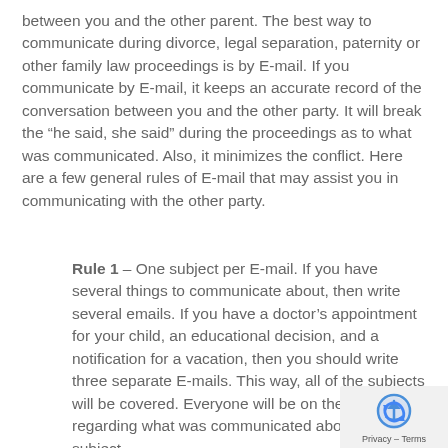between you and the other parent.  The best way to communicate during divorce, legal separation, paternity or other family law proceedings is by E-mail.  If you communicate by E-mail, it keeps an accurate record of the conversation between you and the other party.  It will break the “he said, she said” during the proceedings as to what was communicated.  Also, it minimizes the conflict.  Here are a few general rules of E-mail that may assist you in communicating with the other party.
Rule 1 – One subject per E-mail.  If you have several things to communicate about, then write several emails.  If you have a doctor’s appointment for your child, an educational decision, and a notification for a vacation, then you should write three separate E-mails.  This way, all of the subjects will be covered.  Everyone will be on the same regarding what was communicated about that subject.